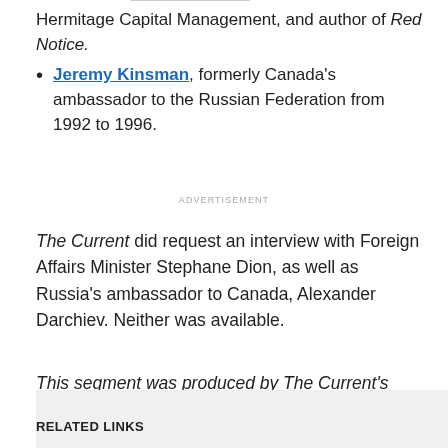Hermitage Capital Management, and author of Red Notice.
Jeremy Kinsman, formerly Canada's ambassador to the Russian Federation from 1992 to 1996.
ADVERTISEMENT
The Current did request an interview with Foreign Affairs Minister Stephane Dion, as well as Russia's ambassador to Canada, Alexander Darchiev. Neither was available.
This segment was produced by The Current's Karin Marley.
RELATED LINKS